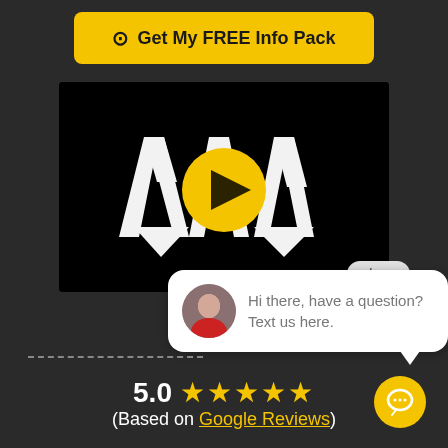» Get My FREE Info Pack
[Figure (screenshot): Video thumbnail with black background showing a stylized logo/monogram in white, with a yellow circular play button overlay in the center]
close
Hi there, have a question? Text us here.
5.0 ★★★★★
(Based on Google Reviews)